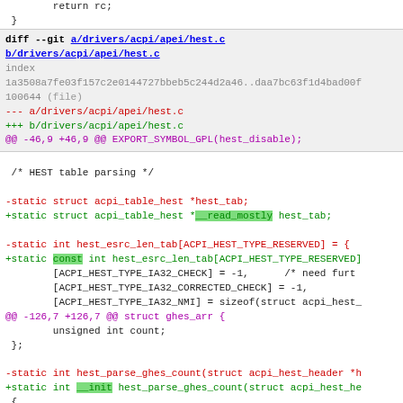return rc;
}
diff --git a/drivers/acpi/apei/hest.c b/drivers/acpi/apei/hest.c
index 1a3508a7fe03f157c2e0144727bbeb5c244d2a46..daa7bc63f1d4bad00f 100644 (file)
--- a/drivers/acpi/apei/hest.c
+++ b/drivers/acpi/apei/hest.c
@@ -46,9 +46,9 @@ EXPORT_SYMBOL_GPL(hest_disable);
/* HEST table parsing */
-static struct acpi_table_hest *hest_tab;
+static struct acpi_table_hest *__read_mostly hest_tab;
-static int hest_esrc_len_tab[ACPI_HEST_TYPE_RESERVED] = {
+static const int hest_esrc_len_tab[ACPI_HEST_TYPE_RESERVED]
        [ACPI_HEST_TYPE_IA32_CHECK] = -1,       /* need furt
        [ACPI_HEST_TYPE_IA32_CORRECTED_CHECK] = -1,
        [ACPI_HEST_TYPE_IA32_NMI] = sizeof(struct acpi_hest_
@@ -126,7 +126,7 @@ struct ghes_arr {
        unsigned int count;
 };
-static int hest_parse_ghes_count(struct acpi_hest_header *h
+static int __init hest_parse_ghes_count(struct acpi_hest_he
 {
        int *count = data;